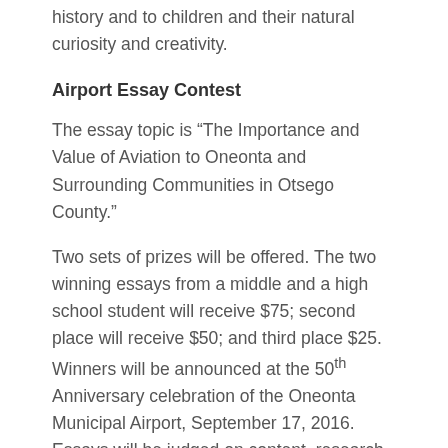history and to children and their natural curiosity and creativity.
Airport Essay Contest
The essay topic is “The Importance and Value of Aviation to Oneonta and Surrounding Communities in Otsego County.”
Two sets of prizes will be offered. The two winning essays from a middle and a high school student will receive $75; second place will receive $50; and third place $25. Winners will be announced at the 50th Anniversary celebration of the Oneonta Municipal Airport, September 17, 2016. Essays will be judged on content, research, appropriate citations, spelling, grammar, and presentation.
Open to all middle and high school aged students in Otsego County. The essay should be approximately 750 words long. One entry per student and...